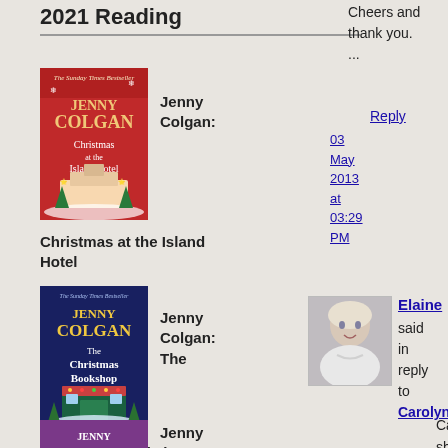2021 Reading
[Figure (illustration): Book cover: Jenny Colgan - Christmas at the Island Hotel (red cover)]
Jenny Colgan:
Christmas at the Island Hotel
[Figure (illustration): Book cover: Jenny Colgan - The Christmas Bookshop (dark blue cover)]
Jenny Colgan: The
Christmas Bookshop
[Figure (illustration): Book cover: Jenny Colgan (purple cover, partially visible)]
Jenny
Cheers and thank you.
...
Reply
03 May 2013 at 03:29 PM
[Figure (photo): Avatar photo of Elaine - older woman with short blonde hair]
Elaine said in reply to CarolynB...
Carolyn she h many stand alone books